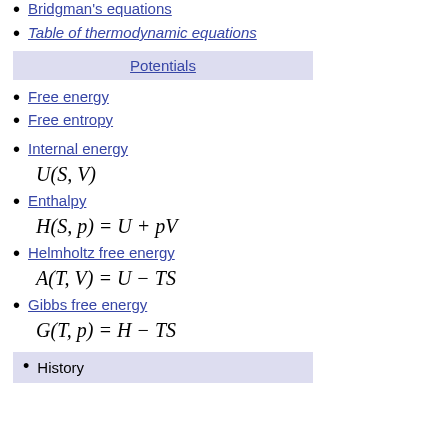Bridgman's equations
Table of thermodynamic equations
Potentials
Free energy
Free entropy
Internal energy
Enthalpy
Helmholtz free energy
Gibbs free energy
History